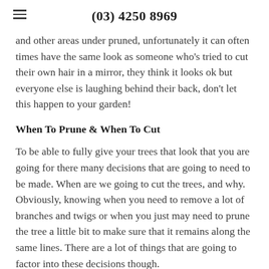(03) 4250 8969
and other areas under pruned, unfortunately it can often times have the same look as someone who's tried to cut their own hair in a mirror, they think it looks ok but everyone else is laughing behind their back, don't let this happen to your garden!
When To Prune & When To Cut
To be able to fully give your trees that look that you are going for there many decisions that are going to need to be made. When are we going to cut the trees, and why. Obviously, knowing when you need to remove a lot of branches and twigs or when you just may need to prune the tree a little bit to make sure that it remains along the same lines. There are a lot of things that are going to factor into these decisions though.